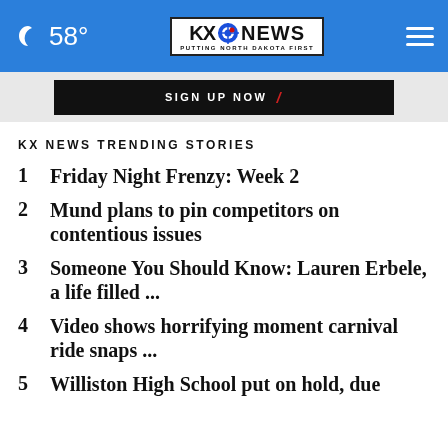58° KX NEWS — PUTTING NORTH DAKOTA FIRST
[Figure (screenshot): SIGN UP NOW button with red arrow on dark background, inside a light gray banner area]
KX NEWS TRENDING STORIES
1  Friday Night Frenzy: Week 2
2  Mund plans to pin competitors on contentious issues
3  Someone You Should Know: Lauren Erbele, a life filled ...
4  Video shows horrifying moment carnival ride snaps ...
5  Williston High School put on hold, due